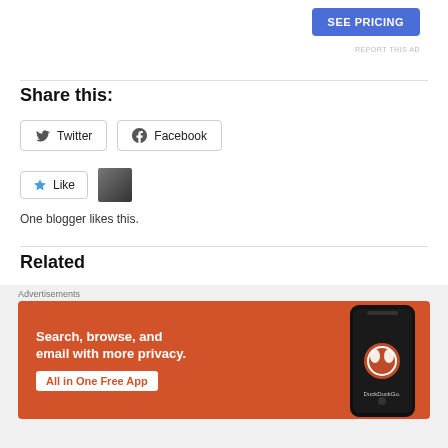[Figure (other): Blue 'SEE PRICING' button]
REPORT THIS AD
Share this:
[Figure (other): Twitter and Facebook share buttons]
[Figure (other): Like button and blogger avatar thumbnail]
One blogger likes this.
Related
Advertisements
[Figure (other): DuckDuckGo advertisement banner: Search, browse, and email with more privacy. All in One Free App.]